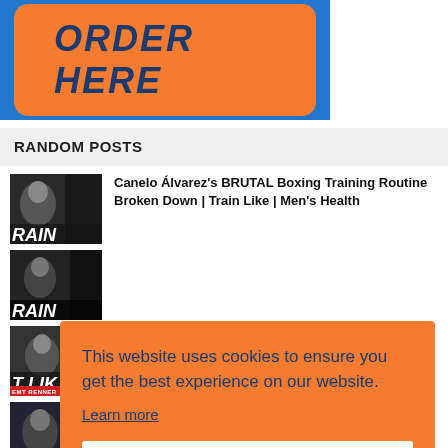[Figure (illustration): Blue banner with an orange rounded button saying ORDER HERE in bold italic dark blue text]
RANDOM POSTS
Canelo Álvarez's BRUTAL Boxing Training Routine Broken Down | Train Like | Men's Health
[Figure (photo): Thumbnail of a boxer (Canelo Álvarez) with RAIN text visible]
[Figure (photo): Second thumbnail with RAIN text visible]
[Figure (photo): Third thumbnail with T LIKE text and EMT RENNER label visible]
[Figure (photo): Fourth thumbnail at bottom]
November 17, 2021
This website uses cookies to ensure you get the best experience on our website.
Learn more
Got it